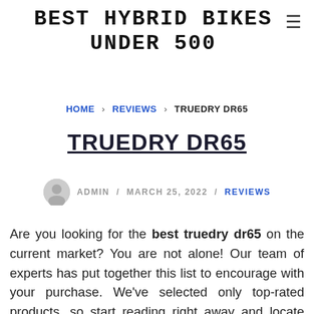BEST HYBRID BIKES UNDER 500
HOME › REVIEWS › TRUEDRY DR65
TRUEDRY DR65
ADMIN / MARCH 25, 2022 / REVIEWS
Are you looking for the best truedry dr65 on the current market? You are not alone! Our team of experts has put together this list to encourage with your purchase. We've selected only top-rated products, so start reading right away and locate one that suits everything of those needs